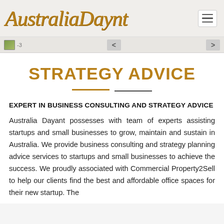AustraliaDaynt
STRATEGY ADVICE
EXPERT IN BUSINESS CONSULTING AND STRATEGY ADVICE
Australia Dayant possesses with team of experts assisting startups and small businesses to grow, maintain and sustain in Australia. We provide business consulting and strategy planning advice services to startups and small businesses to achieve the success. We proudly associated with Commercial Property2Sell to help our clients find the best and affordable office spaces for their new startup. The